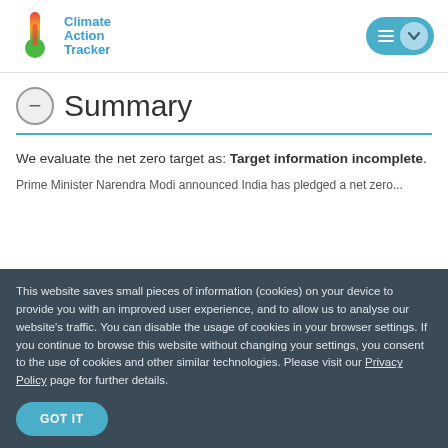Climate Action Tracker
Summary
We evaluate the net zero target as: Target information incomplete.
Prime Minister Narendra Modi announced India has pledged a net zero...
This website saves small pieces of information (cookies) on your device to provide you with an improved user experience, and to allow us to analyse our website's traffic. You can disable the usage of cookies in your browser settings. If you continue to browse this website without changing your settings, you consent to the use of cookies and other similar technologies. Please visit our Privacy Policy page for further details.
GOT IT